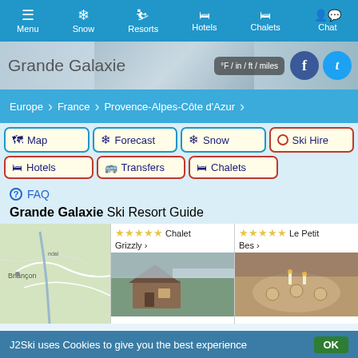Menu | Snow | Resorts | Hotels | Chalets | Chat
Grande Galaxie
°F / in / ft / miles
Europe > France > Provence-Alpes-Côte d'Azur
Map
Forecast
Snow
Ski Hire
Hotels
Transfers
Chalets
FAQ
Grande Galaxie Ski Resort Guide
[Figure (map): Map showing Grande Galaxie ski resort area near Briançon, France]
[Figure (photo): Chalet Grizzly - chalet accommodation photo with star rating]
[Figure (photo): Le Petit Bes - accommodation photo with star rating]
J2Ski uses Cookies to give you the best experience  OK